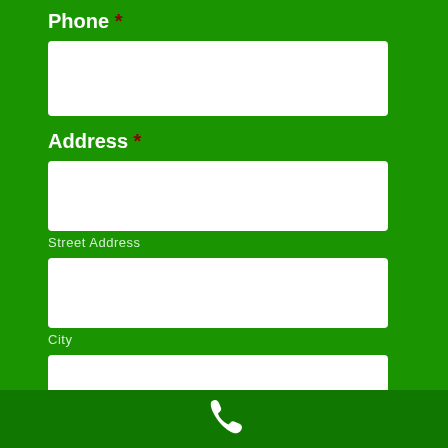Phone *
[Figure (other): Empty white input box for Phone field]
Address *
[Figure (other): Empty white input box for Street Address]
Street Address
[Figure (other): Empty white input box for City]
City
[Figure (other): Empty white input box for ZIP Code]
ZIP Code
Email *
[Figure (other): Empty white input box for Email (partially visible)]
[Figure (other): Phone icon in footer bar]